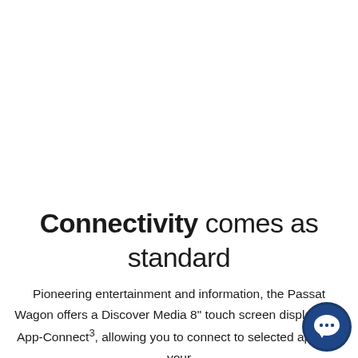Connectivity comes as standard
Pioneering entertainment and information, the Passat Wagon offers a Discover Media 8" touch screen display with App-Connect³, allowing you to connect to selected apps on your
[Figure (illustration): Dark blue circular chat/support icon in the bottom-right corner]